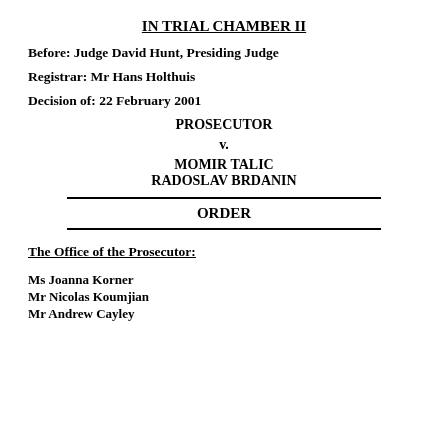IN TRIAL CHAMBER II
Before: Judge David Hunt, Presiding Judge
Registrar: Mr Hans Holthuis
Decision of: 22 February 2001
PROSECUTOR
v.
MOMIR TALIC
RADOSLAV BRDANIN
ORDER
The Office of the Prosecutor:
Ms Joanna Korner
Mr Nicolas Koumjian
Mr Andrew Cayley